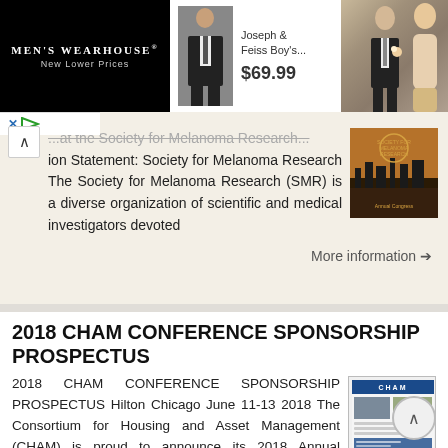[Figure (screenshot): Men's Wearhouse advertisement banner showing a boy's suit and a couple in formal wear. Includes product: Joseph & Feiss Boy's... priced at $69.99]
...at the Society for Melanoma Research...ion Statement: Society for Melanoma Research The Society for Melanoma Research (SMR) is a diverse organization of scientific and medical investigators devoted
More information →
2018 CHAM CONFERENCE SPONSORSHIP PROSPECTUS
2018 CHAM CONFERENCE SPONSORSHIP PROSPECTUS Hilton Chicago June 11-13 2018 The Consortium for Housing and Asset Management (CHAM) is proud to announce its 2018 Annual Conference, to be held in Chicago,